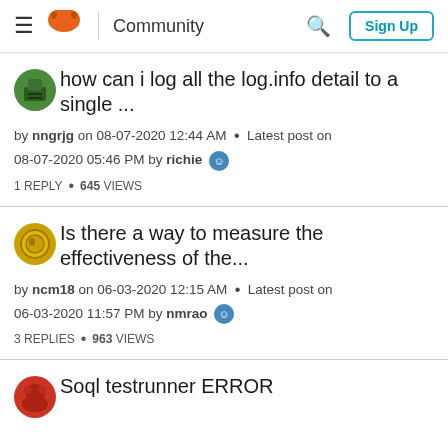Community  Sign Up
how can i log all the log.info detail to a single ...
by nngrjg on 08-07-2020 12:44 AM · Latest post on 08-07-2020 05:46 PM by richie
1 REPLY · 645 VIEWS
Is there a way to measure the effectiveness of the...
by ncm18 on 06-03-2020 12:15 AM · Latest post on 06-03-2020 11:57 PM by nmrao
3 REPLIES · 963 VIEWS
Soql testrunner ERROR